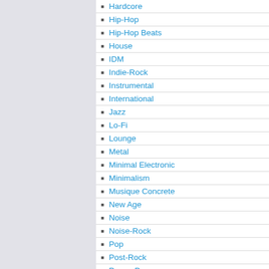Hardcore
Hip-Hop
Hip-Hop Beats
House
IDM
Indie-Rock
Instrumental
International
Jazz
Lo-Fi
Lounge
Metal
Minimal Electronic
Minimalism
Musique Concrete
New Age
Noise
Noise-Rock
Pop
Post-Rock
Power-Pop
Punk-Folk